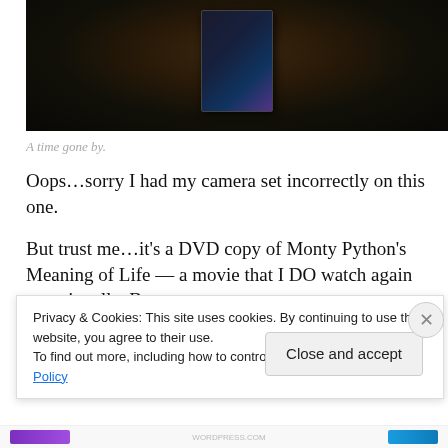[Figure (photo): Dark photograph of a DVD case, appearing very underexposed/dark. A DVD case is visible in the center of an otherwise very dark image.]
A time gone by.
Oops…sorry I had my camera set incorrectly on this one.
But trust me…it's a DVD copy of Monty Python's Meaning of Life — a movie that I DO watch again occasionally. But, since it's available via streaming… off the physical DVD
Privacy & Cookies: This site uses cookies. By continuing to use this website, you agree to their use.
To find out more, including how to control cookies, see here: Cookie Policy
Close and accept